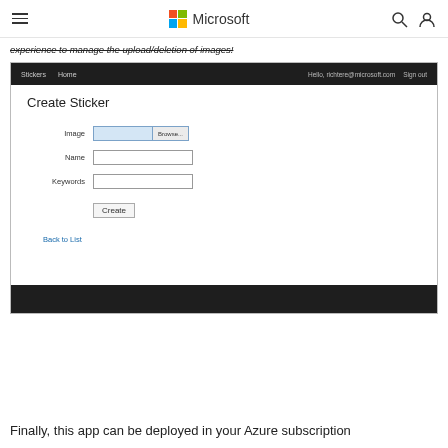Microsoft
experience to manage the upload/deletion of images!
[Figure (screenshot): Screenshot of a web application showing a 'Create Sticker' form with fields for Image (file browse), Name, and Keywords, plus a Create button and Back to List link. The app has a dark navigation bar with 'Stickers', 'Home' links and user info 'Hello, richtere@microsoft.com' and 'Sign out'.]
Finally, this app can be deployed in your Azure subscription